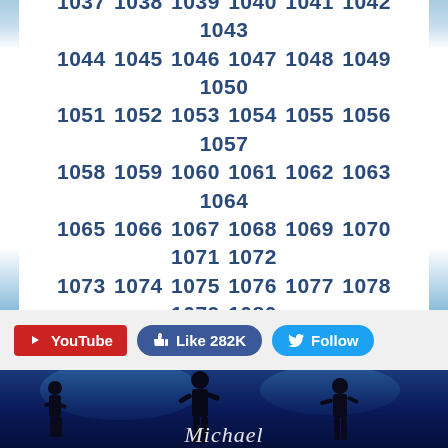1007 1008 1009 1010 1011 1012 1013 1014 1015 1016 1017 1018 1019 1020 1021 1022 1023 1024 1025 1026 1027 1028 1029 1030 1031 1032 1033 1034 1035 1036 1037 1038 1039 1040 1041 1042 1043 1044 1045 1046 1047 1048 1049 1050 1051 1052 1053 1054 1055 1056 1057 1058 1059 1060 1061 1062 1063 1064 1065 1066 1067 1068 1069 1070 1071 1072 1073 1074 1075 1076 1077 1078 1079 1080 1081 1082 1083 1084 1085 1086 1087 1088 1089 1090 1091 1092 1093 1094 1095 1096 1097 1098 1099 1100 1101 1102 1103 1104 1105 1106 1107 ...
[Figure (screenshot): Social media buttons: YouTube (red), Like 282K (Facebook blue), Follow (Twitter blue)]
[Figure (photo): Dark blue background with silhouettes of dancers and Michael Jackson cursive script logo at the bottom]